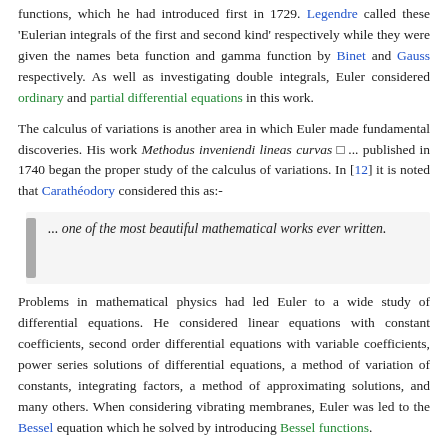functions, which he had introduced first in 1729. Legendre called these 'Eulerian integrals of the first and second kind' respectively while they were given the names beta function and gamma function by Binet and Gauss respectively. As well as investigating double integrals, Euler considered ordinary and partial differential equations in this work.
The calculus of variations is another area in which Euler made fundamental discoveries. His work Methodus inveniendi lineas curvas □ ... published in 1740 began the proper study of the calculus of variations. In [12] it is noted that Carathéodory considered this as:-
... one of the most beautiful mathematical works ever written.
Problems in mathematical physics had led Euler to a wide study of differential equations. He considered linear equations with constant coefficients, second order differential equations with variable coefficients, power series solutions of differential equations, a method of variation of constants, integrating factors, a method of approximating solutions, and many others. When considering vibrating membranes, Euler was led to the Bessel equation which he solved by introducing Bessel functions.